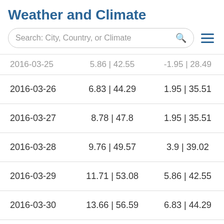Weather and Climate
| Date | Max Temp °C | °F | Min Temp °C | °F |
| --- | --- | --- |
| 2016-03-25 | 5.86 | 42.55 | -1.95 | 28.49 |
| 2016-03-26 | 6.83 | 44.29 | 1.95 | 35.51 |
| 2016-03-27 | 8.78 | 47.8 | 1.95 | 35.51 |
| 2016-03-28 | 9.76 | 49.57 | 3.9 | 39.02 |
| 2016-03-29 | 11.71 | 53.08 | 5.86 | 42.55 |
| 2016-03-30 | 13.66 | 56.59 | 6.83 | 44.29 |
| 2016-03-31 | 15.62 | 60.12 | 6.83 | 44.29 |